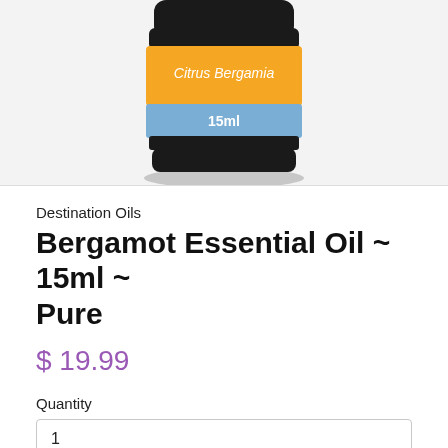[Figure (photo): Product photo of Destination Oils Bergamot Essential Oil bottle, 15ml, with orange label reading 'Citrus Bergamia' and blue band showing '15ml', black cap visible at top]
Destination Oils
Bergamot Essential Oil ~ 15ml ~ Pure
$ 19.99
Quantity
1
Add to Cart